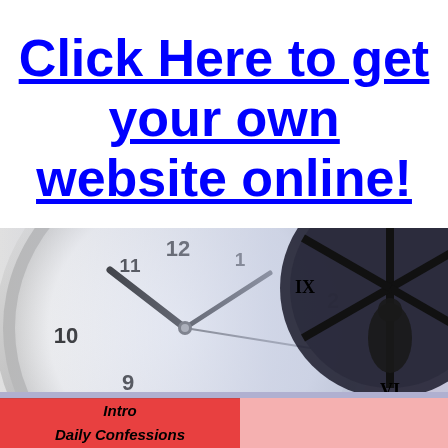Click Here to get your own website online!
[Figure (illustration): Two clocks side by side: a modern analog clock on the left (white face, black numerals 9, 10, 11, 12, 1, 2 visible, hands pointing near 10:10) with silver rim, and a silhouetted ornate clock on the right with a blue/purple tint and decorative spokes. The right portion blends into a pale pink-red gradient background.]
Intro
Daily Confessions